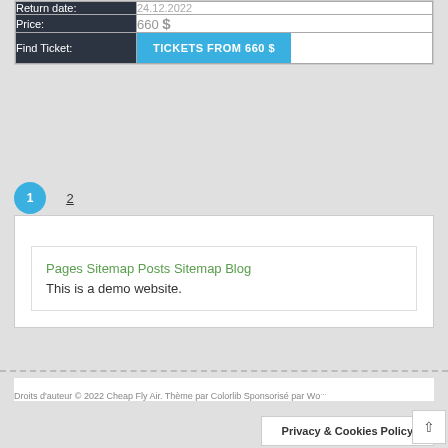| Field | Value |
| --- | --- |
| Return date: | 24.12.2022 |
| Price: | 660 $ |
| Find Ticket: | TICKETS FROM 660 $ |
1 2
Pages Sitemap Posts Sitemap Blog
This is a demo website.
Droits d'auteur © 2022 Cheap Fly Air. Thème par Colorlib Sponsorisé par Wo...
Privacy & Cookies Policy